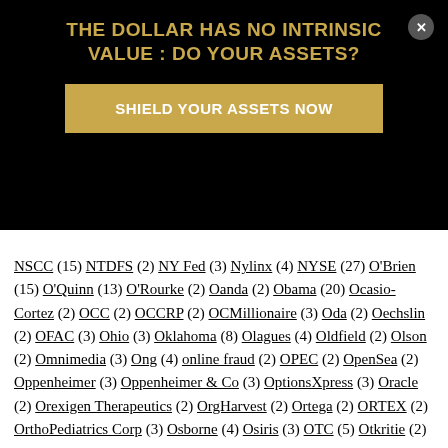[Figure (infographic): Black overlay advertisement: 'THE DOLLAR HAS NO INTRINSIC VALUE : DO YOUR ASSETS?' with gold 'SHIELD YOUR ASSETS NOW' button and close X button]
NSCC (15) NTDFS (2) NY Fed (3) Nylinx (4) NYSE (27) O'Brien (15) O'Quinn (13) O'Rourke (2) Oanda (2) Obama (20) Ocasio-Cortez (2) OCC (2) OCCRP (2) OCMillionaire (3) Oda (2) Oechslin (2) OFAC (3) Ohio (3) Oklahoma (8) Olagues (4) Oldfield (2) Olson (2) Omnimedia (3) Ong (4) online fraud (2) OPEC (2) OpenSea (2) Oppenheimer (3) Oppenheimer & Co (3) OptionsXpress (3) Oracle (2) Orexigen Therapeutics (2) OrgHarvest (2) Ortega (2) ORTEX (2) OrthoPediatrics Corp (3) Osborne (4) Osiris (3) OTC (5) Otkritie (2) Overley (2) Overstock (123) Oxley (2) O'Donnell (5) O'Higgins (2) O'Reilly (2) O'Sullivan (2) Pace (2) Pacific Theatres (2) Pacilio (9) Packer (10) Page (2) Pakistan (6) Palantir (2) Palantir Technologies (5) Palihapitiya (2) Palmeri (4) Pan-Mass (5) Pantginis (4) Panther Energy (2) Pardo (2) Parekh (2) Paris (7) Parker (2) Patch (12) Patel (5) Patrick (2) Patterson (2) Paul (4)